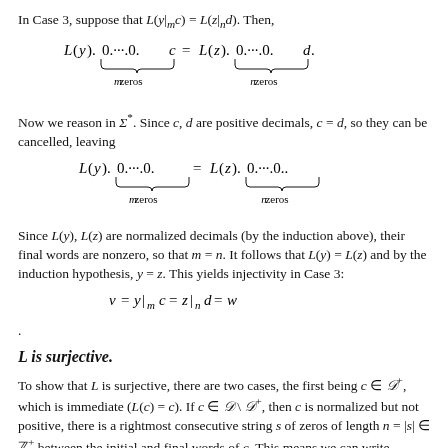In Case 3, suppose that L(y|_m c) = L(z|_n d). Then,
Now we reason in Σ*. Since c, d are positive decimals, c = d, so they can be cancelled, leaving
Since L(y), L(z) are normalized decimals (by the induction above), their final words are nonzero, so that m = n. It follows that L(y) = L(z) and by the induction hypothesis, y = z. This yields injectivity in Case 3:
.
L is surjective.
To show that L is surjective, there are two cases, the first being c ∈ D⁺, which is immediate (L(c) = c). If c ∈ D \ D⁺, then c is normalized but not positive, there is a rightmost consecutive string s of zeros of length n = |s| ∈ ℤ⁺ between the initial and final words of c. This means we can write